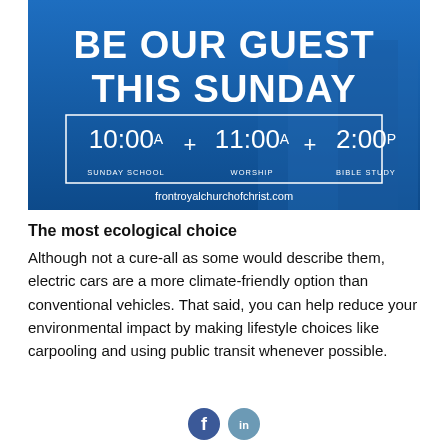[Figure (infographic): Blue church advertisement banner reading 'BE OUR GUEST THIS SUNDAY' with service times: 10:00a Sunday School, 11:00a Worship, 2:00p Bible Study, and website frontroyalchurchofchrist.com]
The most ecological choice
Although not a cure-all as some would describe them, electric cars are a more climate-friendly option than conventional vehicles. That said, you can help reduce your environmental impact by making lifestyle choices like carpooling and using public transit whenever possible.